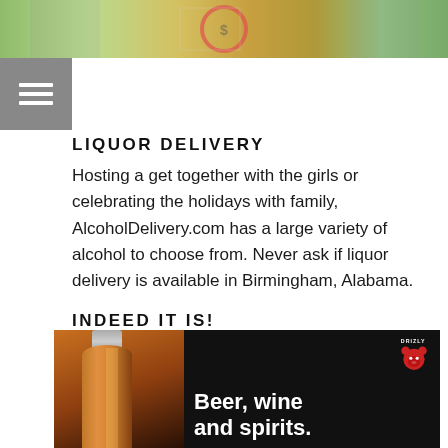[Figure (photo): Website header banner with money/cash background image in green and gold tones]
[Figure (screenshot): Gray hamburger menu button icon with three white horizontal lines]
LIQUOR DELIVERY
Hosting a get together with the girls or celebrating the holidays with family, AlcoholDelivery.com has a large variety of alcohol to choose from. Never ask if liquor delivery is available in Birmingham, Alabama.
INDEED IT IS!
[Figure (photo): Drizly app advertisement showing a whiskey bottle on dark background with Drizly bear logo and text 'Beer, wine and spirits.']